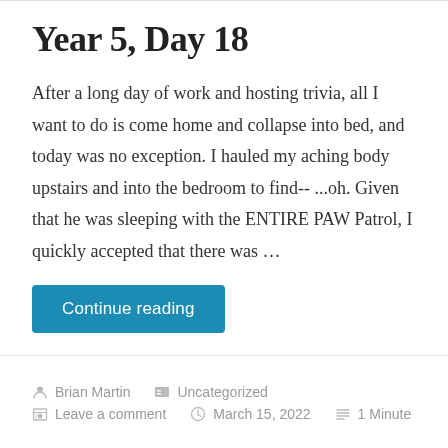Year 5, Day 18
After a long day of work and hosting trivia, all I want to do is come home and collapse into bed, and today was no exception. I hauled my aching body upstairs and into the bedroom to find-- ...oh. Given that he was sleeping with the ENTIRE PAW Patrol, I quickly accepted that there was …
Continue reading
Brian Martin   Uncategorized   Leave a comment   March 15, 2022   1 Minute